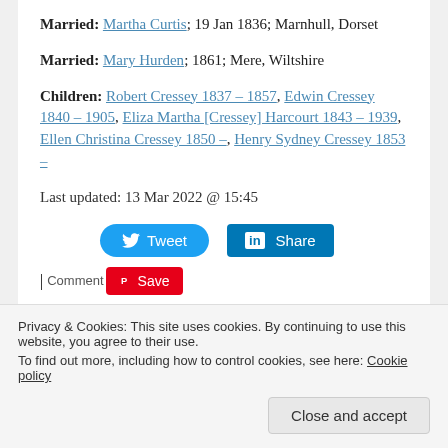Married: Martha Curtis; 19 Jan 1836; Marnhull, Dorset
Married: Mary Hurden; 1861; Mere, Wiltshire
Children: Robert Cressey 1837 – 1857, Edwin Cressey 1840 – 1905, Eliza Martha [Cressey] Harcourt 1843 – 1939, Ellen Christina Cressey 1850 –, Henry Sydney Cressey 1853 –
Last updated: 13 Mar 2022 @ 15:45
[Figure (screenshot): Tweet and Share (LinkedIn) social buttons]
[Figure (screenshot): Pinterest Save button and Comment link]
Privacy & Cookies: This site uses cookies. By continuing to use this website, you agree to their use. To find out more, including how to control cookies, see here: Cookie policy
Close and accept